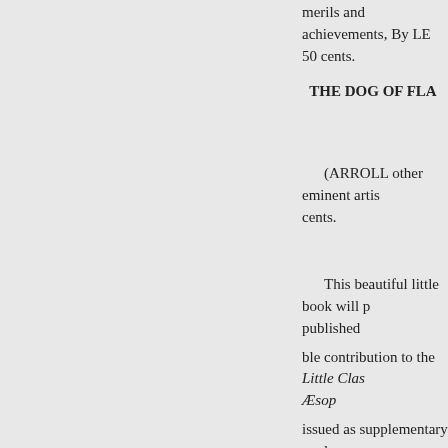merils and achievements, By LE... 50 cents.
THE DOG OF FLA...
(ARROLL other eminent artis... cents.
This beautiful little book will p... published
ble contribution to the Little Clas... Æsop
issued as supplementary readers... September chil
tional Publishing Company. dren...
Every school, home, and child... the
copy. In no other work of like air...
language so pure, the style so fau...
word pictures so vivid, and the p...